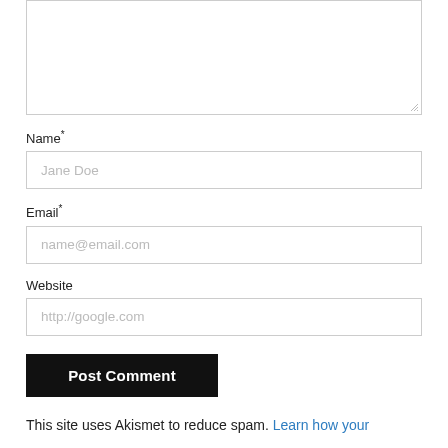Name*
Jane Doe
Email*
name@email.com
Website
http://google.com
Post Comment
This site uses Akismet to reduce spam. Learn how your